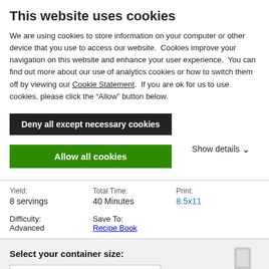This website uses cookies
We are using cookies to store information on your computer or other device that you use to access our website.  Cookies improve your navigation on this website and enhance your user experience.  You can find out more about our use of analytics cookies or how to switch them off by viewing our Cookie Statement.  If you are ok for us to use cookies, please click the “Allow” button below.
Deny all except necessary cookies
Allow all cookies
Show details
| Yield: | Total Time: | Print: |
| --- | --- | --- |
| 8 servings | 40 Minutes | 8.5x11 |
| Difficulty: | Save To: |  |
| Advanced | Recipe Book |  |
Select your container size:
64-ounce/ 2.0-liter Classic Co
Ingredients